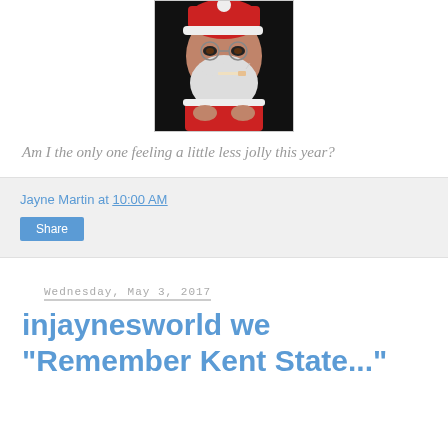[Figure (illustration): A caricature illustration of a sinister-looking Santa Claus in a dark background, wearing red suit, with a cigarette in his mouth and an evil grin.]
Am I the only one feeling a little less jolly this year?
Jayne Martin at 10:00 AM
Share
Wednesday, May 3, 2017
injaynesworld we "Remember Kent State..."